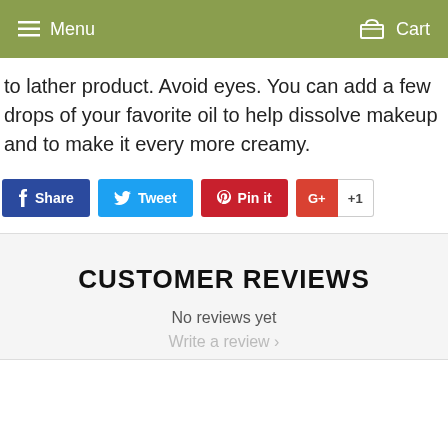Menu   Cart
to lather product. Avoid eyes. You can add a few drops of your favorite oil to help dissolve makeup and to make it every more creamy.
Share  Tweet  Pin it  +1
CUSTOMER REVIEWS
No reviews yet
Write a review ›